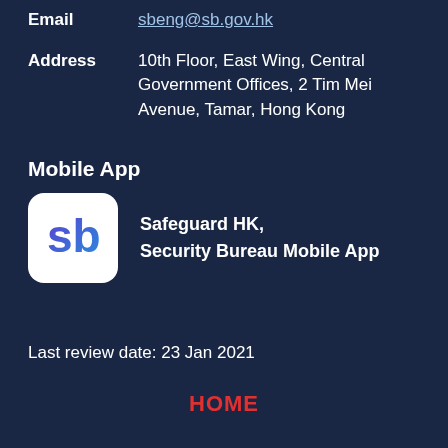Email	sbeng@sb.gov.hk
Address	10th Floor, East Wing, Central Government Offices, 2 Tim Mei Avenue, Tamar, Hong Kong
Mobile App
[Figure (logo): Safeguard HK Security Bureau mobile app icon — white rounded square with blue 'sb' logo]
Safeguard HK, Security Bureau Mobile App
Last review date: 23 Jan 2021
HOME